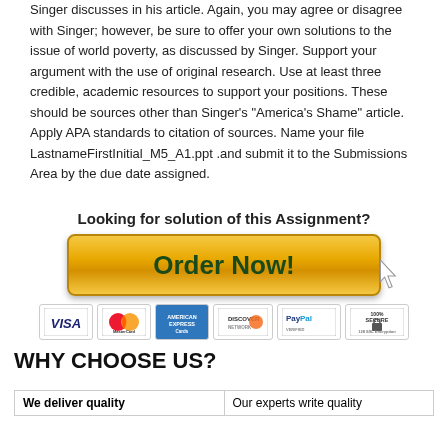Singer discusses in his article. Again, you may agree or disagree with Singer; however, be sure to offer your own solutions to the issue of world poverty, as discussed by Singer. Support your argument with the use of original research. Use at least three credible, academic resources to support your positions. These should be sources other than Singer's “America’s Shame” article. Apply APA standards to citation of sources. Name your file LastnameFirstInitial_M5_A1.ppt .and submit it to the Submissions Area by the due date assigned.
Looking for solution of this Assignment?
[Figure (other): Orange gradient Order Now button with cursor icon and payment method logos (Visa, MasterCard, American Express, Discover, PayPal, 100% Secure 128 SSL Encryption)]
WHY CHOOSE US?
| We deliver quality | Our experts write quality |
| --- | --- |